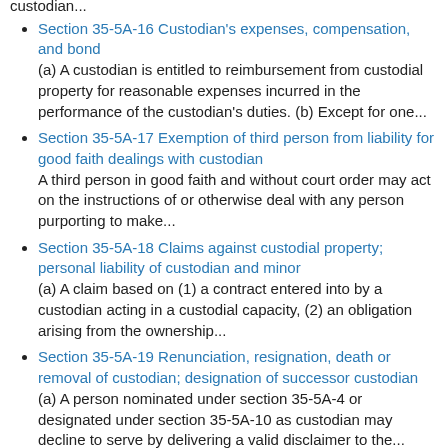custodian...
Section 35-5A-16 Custodian's expenses, compensation, and bond
(a) A custodian is entitled to reimbursement from custodial property for reasonable expenses incurred in the performance of the custodian's duties. (b) Except for one...
Section 35-5A-17 Exemption of third person from liability for good faith dealings with custodian
A third person in good faith and without court order may act on the instructions of or otherwise deal with any person purporting to make...
Section 35-5A-18 Claims against custodial property; personal liability of custodian and minor
(a) A claim based on (1) a contract entered into by a custodian acting in a custodial capacity, (2) an obligation arising from the ownership...
Section 35-5A-19 Renunciation, resignation, death or removal of custodian; designation of successor custodian
(a) A person nominated under section 35-5A-4 or designated under section 35-5A-10 as custodian may decline to serve by delivering a valid disclaimer to the...
Section 35-5A-20 Accounting by and determining of liability